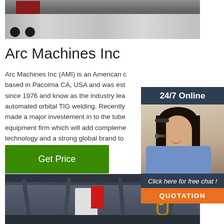[Figure (photo): Industrial machine on conveyor/track, top-cropped photo]
Arc Machines Inc
Arc Machines Inc (AMI) is an American c based in Pacoima CA, USA and was est since 1976 and know as the industry lea automated orbital TIG welding. Recently made a major investement in to the tube equipment firm which will add compleme technology and a strong global brand to portfolio.
[Figure (photo): Customer service representative with headset, 24/7 Online chat widget with QUOTATION button]
Get Price
[Figure (photo): Industrial warehouse interior with crane/hoist equipment]